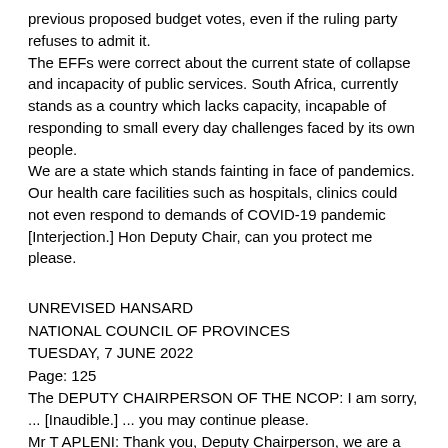previous proposed budget votes, even if the ruling party refuses to admit it.
The EFFs were correct about the current state of collapse and incapacity of public services. South Africa, currently stands as a country which lacks capacity, incapable of responding to small every day challenges faced by its own people.
We are a state which stands fainting in face of pandemics. Our health care facilities such as hospitals, clinics could not even respond to demands of COVID-19 pandemic [Interjection.] Hon Deputy Chair, can you protect me please.
UNREVISED HANSARD
NATIONAL COUNCIL OF PROVINCES
TUESDAY, 7 JUNE 2022
Page: 125
The DEPUTY CHAIRPERSON OF THE NCOP: I am sorry, ... [Inaudible.] ... you may continue please.
Mr T APLENI: Thank you, Deputy Chairperson, we are a state which stands shaking in face of pandemics. Our health care facilities such as hospitals, clinics could not respond to demands of COVID-19 pandemic, instead our people died,